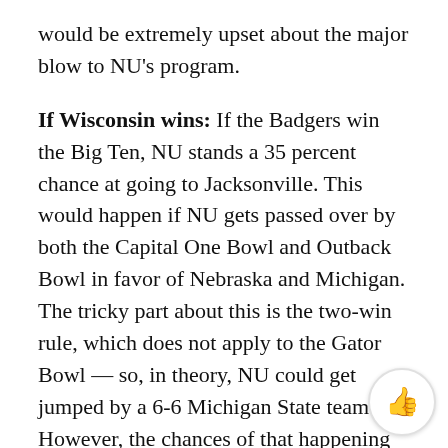would be extremely upset about the major blow to NU's program.
If Wisconsin wins: If the Badgers win the Big Ten, NU stands a 35 percent chance at going to Jacksonville. This would happen if NU gets passed over by both the Capital One Bowl and Outback Bowl in favor of Nebraska and Michigan. The tricky part about this is the two-win rule, which does not apply to the Gator Bowl — so, in theory, NU could get jumped by a 6-6 Michigan State team. However, the chances of that happening are about as slim as NU going to the Gator Bowl if Nebraska wins, and the reaction would be the same, as well.
Potential Opponent: This is a much easier bowl to project because most of the difficult decisions will be made bef the Gator Bowl picks its SEC team. The likely candidate